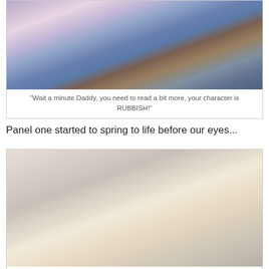[Figure (photo): Child sitting on carpet looking at an open book with illustrated characters and content]
"Wait a minute Daddy, you need to read a bit more, your character is RUBBISH!"
Panel one started to spring to life before our eyes...
[Figure (photo): Child's hand holding a pencil drawing comic panel with colorful text and sketch of a character]